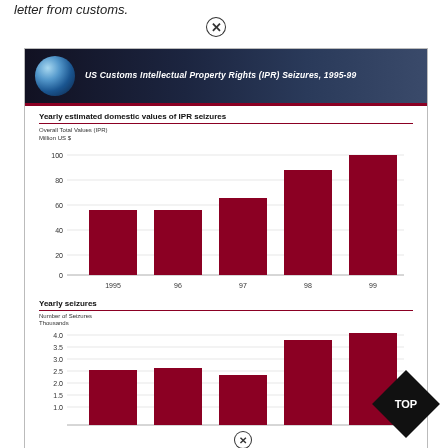letter from customs.
[Figure (bar-chart): Bar chart showing yearly estimated domestic values of IPR seizures from 1995 to 99]
[Figure (bar-chart): Bar chart showing yearly seizures from 1995 to 99]